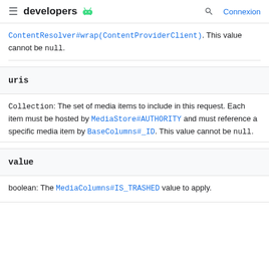developers [android logo] | Connexion
ContentResolver#wrap(ContentProviderClient). This value cannot be null.
uris
Collection: The set of media items to include in this request. Each item must be hosted by MediaStore#AUTHORITY and must reference a specific media item by BaseColumns#_ID. This value cannot be null.
value
boolean: The MediaColumns#IS_TRASHED value to apply.